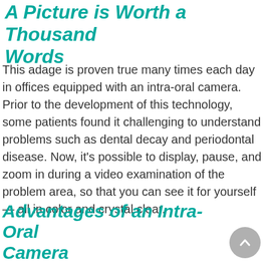A Picture is Worth a Thousand Words
This adage is proven true many times each day in offices equipped with an intra-oral camera. Prior to the development of this technology, some patients found it challenging to understand problems such as dental decay and periodontal disease. Now, it's possible to display, pause, and zoom in during a video examination of the problem area, so that you can see it for yourself — all in color and crystal clear.
Advantages of an Intra-Oral Camera